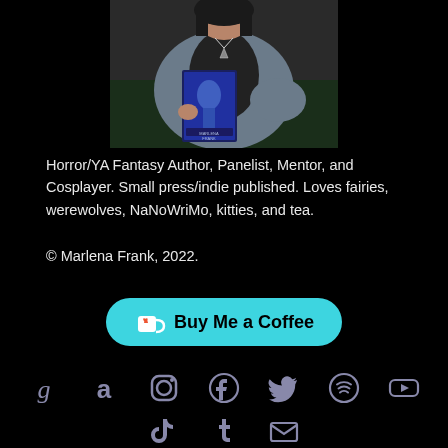[Figure (photo): Person holding a book outdoors, wearing a grey cardigan and black top, with a necklace]
Horror/YA Fantasy Author, Panelist, Mentor, and Cosplayer. Small press/indie published. Loves fairies, werewolves, NaNoWriMo, kitties, and tea.
© Marlena Frank, 2022.
[Figure (infographic): Buy Me a Coffee button in cyan/teal color]
[Figure (infographic): Social media icons row 1: Goodreads, Amazon, Instagram, Facebook, Twitter, Spotify, YouTube]
[Figure (infographic): Social media icons row 2: TikTok, Tumblr, Email]